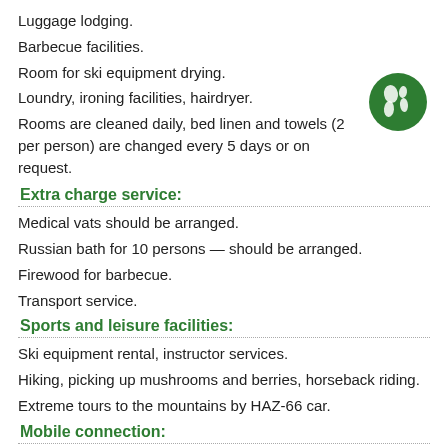Luggage lodging.
Barbecue facilities.
Room for ski equipment drying.
Loundry, ironing facilities, hairdryer.
Rooms are cleaned daily, bed linen and towels (2 per person) are changed every 5 days or on request.
[Figure (illustration): Green circle globe/earth icon]
Extra charge service:
Medical vats should be arranged.
Russian bath for 10 persons — should be arranged.
Firewood for barbecue.
Transport service.
Sports and leisure facilities:
Ski equipment rental, instructor services.
Hiking, picking up mushrooms and berries, horseback riding.
Extreme tours to the mountains by HAZ-66 car.
Mobile connection:
Kyivstar